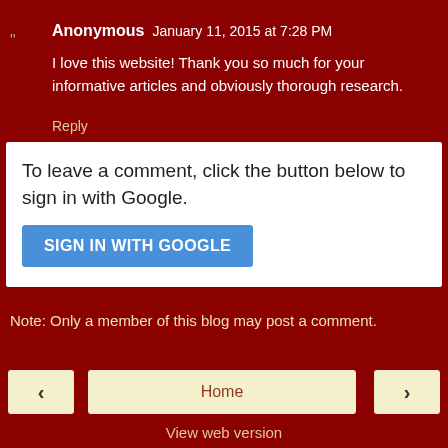Anonymous January 11, 2015 at 7:28 PM
I love this website! Thank you so much for your informative articles and obviously thorough research.
Reply
To leave a comment, click the button below to sign in with Google.
SIGN IN WITH GOOGLE
Note: Only a member of this blog may post a comment.
‹
Home
›
View web version
Powered by Blogger.